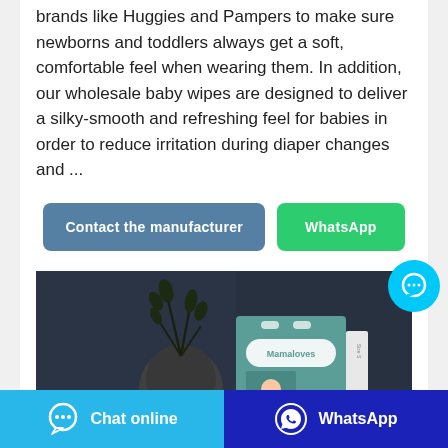brands like Huggies and Pampers to make sure newborns and toddlers always get a soft, comfortable feel when wearing them. In addition, our wholesale baby wipes are designed to deliver a silky-smooth and refreshing feel for babies in order to reduce irritation during diaper changes and ...
Contact the manufacturer
WhatsApp
[Figure (photo): Product photo of Mamaloves baby diapers box on a dark background with a decorative plant and dark round object]
Chat online
WhatsApp